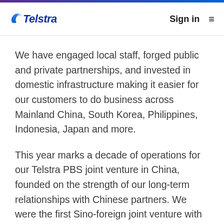Telstra | Sign in
We have engaged local staff, forged public and private partnerships, and invested in domestic infrastructure making it easier for our customers to do business across Mainland China, South Korea, Philippines, Indonesia, Japan and more.
This year marks a decade of operations for our Telstra PBS joint venture in China, founded on the strength of our long-term relationships with Chinese partners. We were the first Sino-foreign joint venture with a cross-provincial IPVPN license in Mainland China, building and operating data centres, IPVPN networks and backhaul that now…